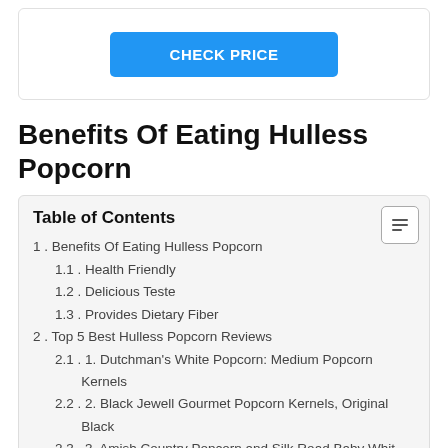[Figure (screenshot): Blue CHECK PRICE button on white card background]
Benefits Of Eating Hulless Popcorn
| Table of Contents |
| --- |
| 1. Benefits Of Eating Hulless Popcorn |
| 1.1. Health Friendly |
| 1.2. Delicious Teste |
| 1.3. Provides Dietary Fiber |
| 2. Top 5 Best Hulless Popcorn Reviews |
| 2.1. 1. Dutchman's White Popcorn: Medium Popcorn Kernels |
| 2.2. 2. Black Jewell Gourmet Popcorn Kernels, Original Black |
| 2.3. 3. Amish Country Popcorn and Silk Road Baby White... |